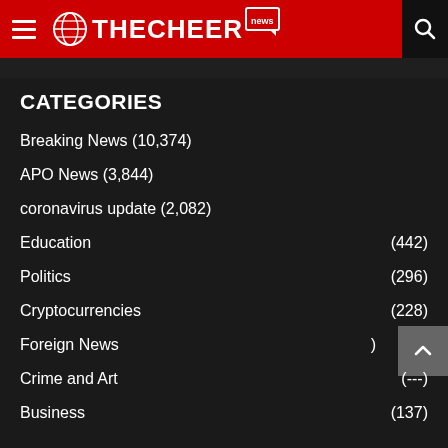THECHEER NEWS
CATEGORIES
Breaking News (10,374)
APO News (3,844)
coronavirus update (2,082)
Education (442)
Politics (296)
Cryptocurrencies (228)
Foreign News
Crime and Art
Business (137)